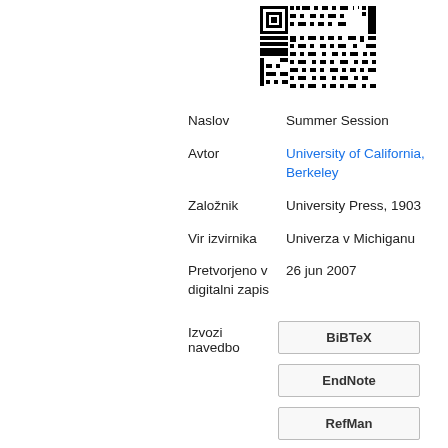[Figure (other): QR code image in the upper right area of the page]
| Naslov | Summer Session |
| Avtor | University of California, Berkeley |
| Založnik | University Press, 1903 |
| Vir izvirnika | Univerza v Michiganu |
| Pretvorjeno v digitalni zapis | 26 jun 2007 |
Izvozi navedbo
BiBTeX
EndNote
RefMan